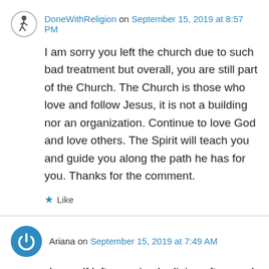[Figure (illustration): Small circular avatar icon with a running figure silhouette, gray border]
DoneWithReligion on September 15, 2019 at 8:57 PM
I am sorry you left the church due to such bad treatment but overall, you are still part of the Church. The Church is those who love and follow Jesus, it is not a building nor an organization. Continue to love God and love others. The Spirit will teach you and guide you along the path he has for you. Thanks for the comment.
★ Like
[Figure (illustration): Circular blue avatar icon with a power/on symbol in white]
Ariana on September 15, 2019 at 7:49 AM
I myself left organized religion after word whispered out about my mental illness.Within a